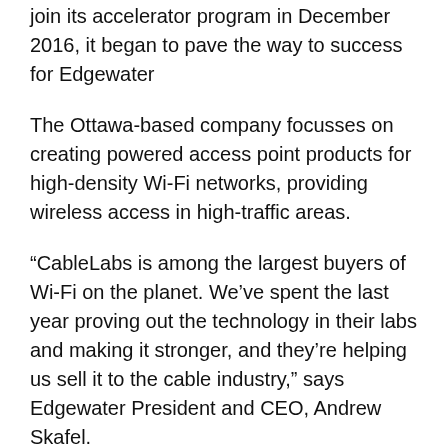join its accelerator program in December 2016, it began to pave the way to success for Edgewater
The Ottawa-based company focusses on creating powered access point products for high-density Wi-Fi networks, providing wireless access in high-traffic areas.
“CableLabs is among the largest buyers of Wi-Fi on the planet. We’ve spent the last year proving out the technology in their labs and making it stronger, and they’re helping us sell it to the cable industry,” says Edgewater President and CEO, Andrew Skafel.
Edgewater’s board believes that by completing this accelerator program, it will allow for the company to